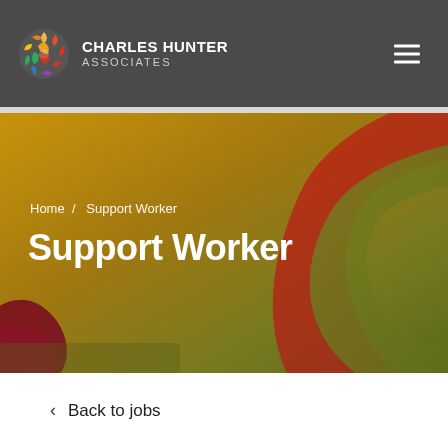CHARLES HUNTER ASSOCIATES
[Figure (illustration): Charles Hunter Associates logo: multicolored circular mosaic icon followed by company name 'CHARLES HUNTER ASSOCIATES' in white bold text, with 'ASSOCIATES' in grey below]
[Figure (illustration): Hero banner with abstract organic shapes in gold, dark red, olive green, and dark maroon forming curved C-like shapes on a gradient background]
Home / Support Worker
Support Worker
< Back to jobs